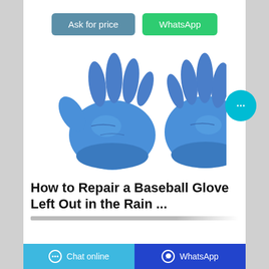[Figure (other): Two blue nitrile disposable gloves displayed on white background]
How to Repair a Baseball Glove Left Out in the Rain ...
[Figure (other): Floating cyan circular chat bubble button with ellipsis icon]
Chat online   WhatsApp